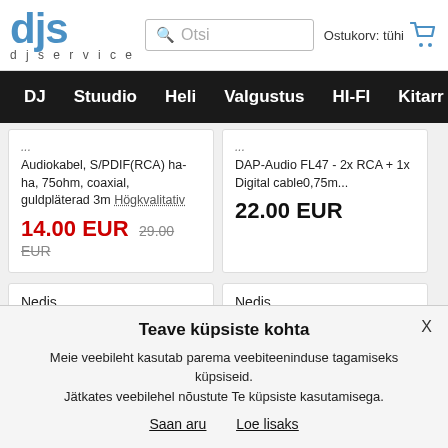djs djservice | Otsi | Ostukorv: tühi
DJ | Stuudio | Heli | Valgustus | HI-FI | Kitarr
Audiokabel, S/PDIF(RCA) ha-ha, 75ohm, coaxial, guldpläterad 3m Högkvalitativ
14.00 EUR  29.00 EUR
DAP-Audio FL47 - 2x RCA + 1x Digital cable0,75m...
22.00 EUR
Nedis
Nedis
Teave küpsiste kohta
Meie veebileht kasutab parema veebiteeninduse tagamiseks küpsiseid. Jätkates veebilehel nõustute Te küpsiste kasutamisega.
Saan aru   Loe lisaks